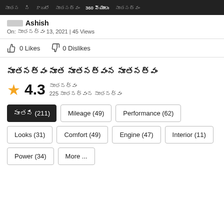నూతన   ని   కారులో   నూతనత్వం   360 వ్యూలు   నూతనత్వం
నూతని Ashish
On: నూతనత్వం 13, 2021 | 45 Views
0 Likes   0 Dislikes
నూతనత్వం నూత నూతనత్వంన నూతనత్వం
★ 4.3
నూతనత్వం
225 నూతనత్వంన నూతనత్వం
నూతని (211)
Mileage (49)
Performance (62)
Looks (31)
Comfort (49)
Engine (47)
Interior (11)
Power (34)
More ...